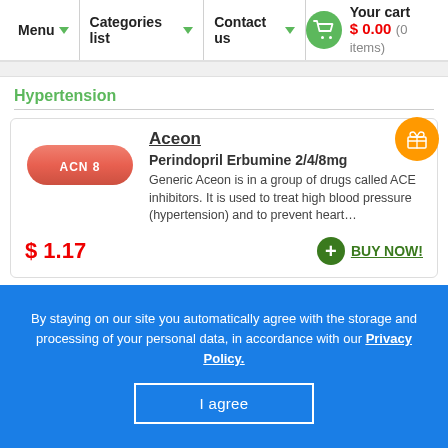Menu  Categories list  Contact us  Your cart $ 0.00 (0 items)
Hypertension
Aceon
Perindopril Erbumine 2/4/8mg
Generic Aceon is in a group of drugs called ACE inhibitors. It is used to treat high blood pressure (hypertension) and to prevent heart…
$ 1.17
BUY NOW!
By staying on our site you automatically agree with the storage and processing of your personal data, in accordance with our Privacy Policy.
I agree